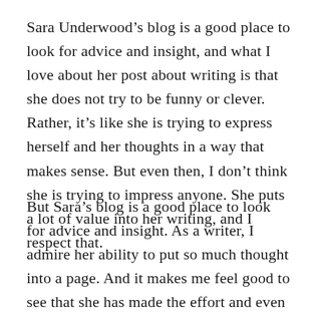Sara Underwood's blog is a good place to look for advice and insight, and what I love about her post about writing is that she does not try to be funny or clever. Rather, it's like she is trying to express herself and her thoughts in a way that makes sense. But even then, I don't think she is trying to impress anyone. She puts a lot of value into her writing, and I respect that.
But Sara's blog is a good place to look for advice and insight. As a writer, I admire her ability to put so much thought into a page. And it makes me feel good to see that she has made the effort and even tries to connect with her readers. That's not to say